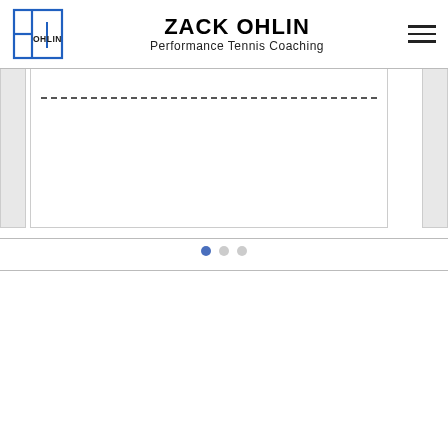[Figure (logo): Zack Ohlin Performance Tennis Coaching logo — a blue outlined square with a tennis court grid inside and the word OHLIN in small caps]
ZACK OHLIN
Performance Tennis Coaching
[Figure (screenshot): Website carousel/slider showing a partial left panel, a center white panel with a dashed horizontal line, and a partial right panel. Below the slider are three pagination dots, the first one filled blue.]